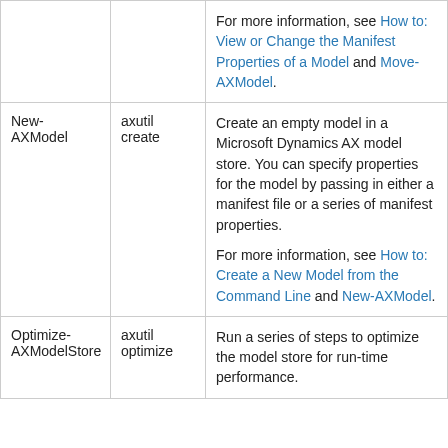| Windows PowerShell cmdlet | AXUtil command | Description |
| --- | --- | --- |
|  |  | For more information, see How to: View or Change the Manifest Properties of a Model and Move-AXModel. |
| New-AXModel | axutil create | Create an empty model in a Microsoft Dynamics AX model store. You can specify properties for the model by passing in either a manifest file or a series of manifest properties.

For more information, see How to: Create a New Model from the Command Line and New-AXModel. |
| Optimize-AXModelStore | axutil optimize | Run a series of steps to optimize the model store for run-time performance. |